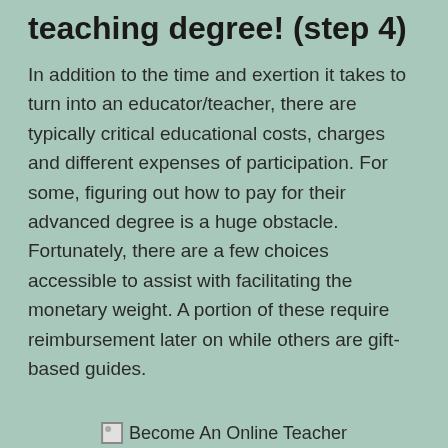teaching degree! (step 4)
In addition to the time and exertion it takes to turn into an educator/teacher, there are typically critical educational costs, charges and different expenses of participation. For some, figuring out how to pay for their advanced degree is a huge obstacle. Fortunately, there are a few choices accessible to assist with facilitating the monetary weight. A portion of these require reimbursement later on while others are gift-based guides.
[Figure (photo): Broken/placeholder image icon followed by text 'Become An Online Teacher']